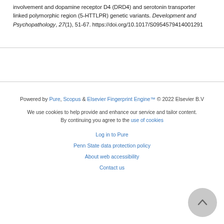involvement and dopamine receptor D4 (DRD4) and serotonin transporter linked polymorphic region (5-HTTLPR) genetic variants. Development and Psychopathology, 27(1), 51-67. https://doi.org/10.1017/S0954579414001291
Powered by Pure, Scopus & Elsevier Fingerprint Engine™ © 2022 Elsevier B.V
We use cookies to help provide and enhance our service and tailor content. By continuing you agree to the use of cookies
Log in to Pure
Penn State data protection policy
About web accessibility
Contact us